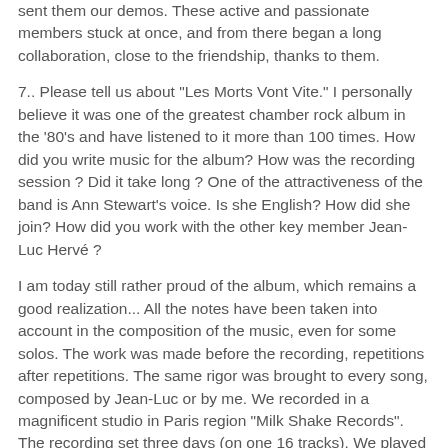sent them our demos. These active and passionate members stuck at once, and from there began a long collaboration, close to the friendship, thanks to them.
7.. Please tell us about "Les Morts Vont Vite." I personally believe it was one of the greatest chamber rock album in the '80's and have listened to it more than 100 times. How did you write music for the album? How was the recording session ? Did it take long ? One of the attractiveness of the band is Ann Stewart's voice. Is she English? How did she join? How did you work with the other key member Jean-Luc Hervé ?
I am today still rather proud of the album, which remains a good realization... All the notes have been taken into account in the composition of the music, even for some solos. The work was made before the recording, repetitions after repetitions. The same rigor was brought to every song, composed by Jean-Luc or by me. We recorded in a magnificent studio in Paris region "Milk Shake Records". The recording set three days (on one 16 tracks). We played there live several times in a row the same composition and kept